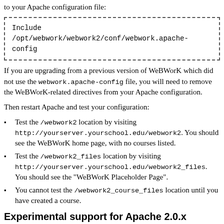to your Apache configuration file:
Include
/opt/webwork/webwork2/conf/webwork.apache-config
If you are upgrading from a previous version of WeBWorK which did not use the webwork.apache-config file, you will need to remove the WeBWorK-related directives from your Apache configuration.
Then restart Apache and test your configuration:
Test the /webwork2 location by visiting http://yourserver.yourschool.edu/webwork2. You should see the WeBWorK home page, with no courses listed.
Test the /webwork2_files location by visiting http://yourserver.yourschool.edu/webwork2_files. You should see the "WeBWorK Placeholder Page".
You cannot test the /webwork2_course_files location until you have created a course.
Experimental support for Apache 2.0.x
If you are using Apache 2.0.x, follow the directions above, with these